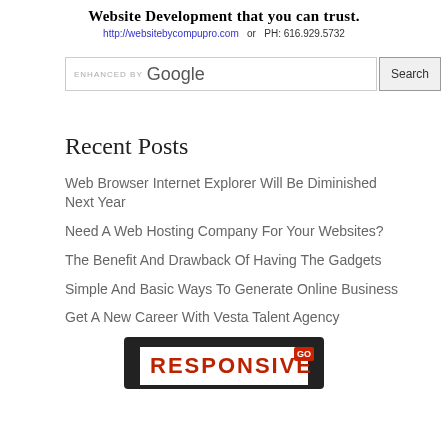Website Development that you can trust.
http://websitebycompupro.com  or  PH: 616.929.5732
[Figure (screenshot): Google search bar with 'ENHANCED BY Google' placeholder text and a Search button]
Recent Posts
Web Browser Internet Explorer Will Be Diminished Next Year
Need A Web Hosting Company For Your Websites?
The Benefit And Drawback Of Having The Gadgets
Simple And Basic Ways To Generate Online Business
Get A New Career With Vesta Talent Agency
[Figure (screenshot): Partial image showing a tablet/device with text RESPONSIVE in bold red letters on a dark background]